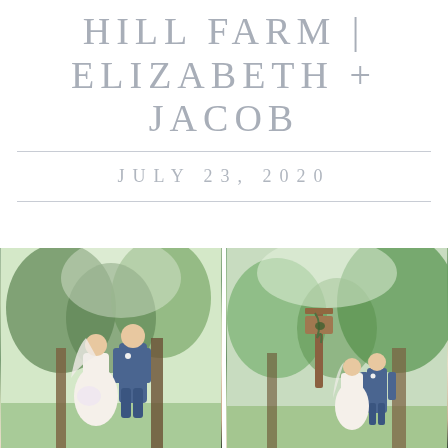HILL FARM | ELIZABETH + JACOB
JULY 23, 2020
[Figure (photo): Wedding couple portrait - bride in white dress with veil and groom in blue suit, outdoors with green trees in background (left photo)]
[Figure (photo): Wedding couple portrait - bride and groom standing outdoors with trees and a rustic sign in background (right photo)]